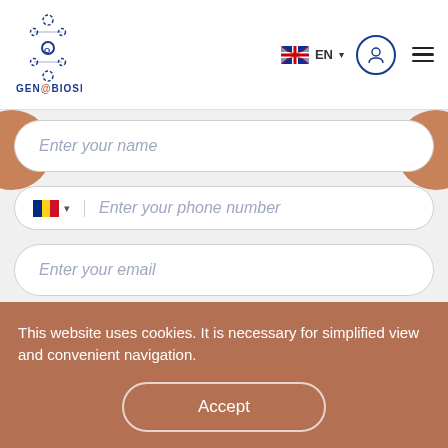[Figure (logo): Genobiosis logo with DNA helix icon and text GENOBIOSIS in blue]
[Figure (screenshot): UK flag icon with EN text and dropdown arrow for language selector]
[Figure (screenshot): User profile circle icon and hamburger menu icon]
Enter your name
Enter your phone number
Enter your email
Get consultation (partially visible button)
This website uses cookies. It is necessary for simplified view and convenient navigation.
Accept